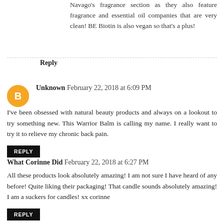Navago's fragrance section as they also feature fragrance and essential oil companies that are very clean! BE Biotin is also vegan so that's a plus!
Reply
Unknown  February 22, 2018 at 6:09 PM
I've been obsessed with natural beauty products and always on a lookout to try something new. This Warrior Balm is calling my name. I really want to try it to relieve my chronic back pain.
REPLY
What Corinne Did  February 22, 2018 at 6:27 PM
All these products look absolutely amazing! I am not sure I have heard of any before! Quite liking their packaging! That candle sounds absolutely amazing! I am a suckers for candles! xx corinne
REPLY